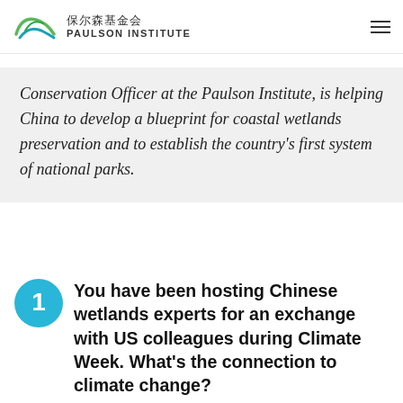保尔森基金会 PAULSON INSTITUTE
Conservation Officer at the Paulson Institute, is helping China to develop a blueprint for coastal wetlands preservation and to establish the country's first system of national parks.
1. You have been hosting Chinese wetlands experts for an exchange with US colleagues during Climate Week. What's the connection to climate change?